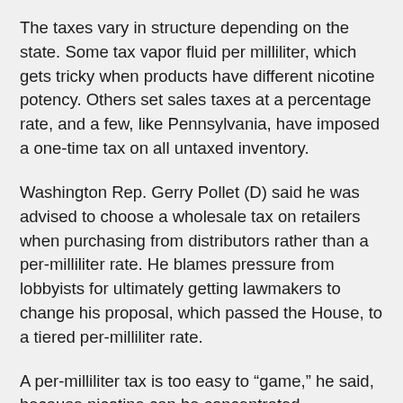The taxes vary in structure depending on the state. Some tax vapor fluid per milliliter, which gets tricky when products have different nicotine potency. Others set sales taxes at a percentage rate, and a few, like Pennsylvania, have imposed a one-time tax on all untaxed inventory.
Washington Rep. Gerry Pollet (D) said he was advised to choose a wholesale tax on retailers when purchasing from distributors rather than a per-milliliter rate. He blames pressure from lobbyists for ultimately getting lawmakers to change his proposal, which passed the House, to a tiered per-milliliter rate.
A per-milliliter tax is too easy to “game,” he said, because nicotine can be concentrated.
“I expect that we will have discussions about adjusting legislation next year,” Pollet said. “We have to because it was so rushed through.”